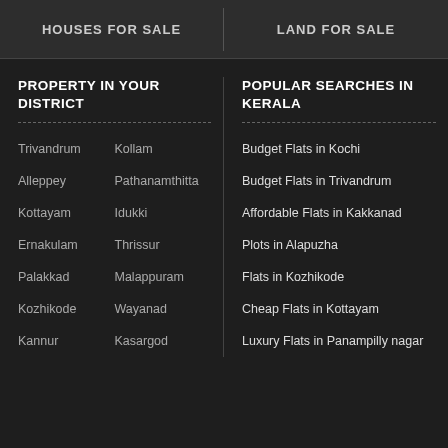HOUSES FOR SALE
LAND FOR SALE
PROPERTY IN YOUR DISTRICT
POPULAR SEARCHES IN KERALA
Trivandrum
Kollam
Alleppey
Pathanamthitta
Kottayam
Idukki
Ernakulam
Thrissur
Palakkad
Malappuram
Kozhikode
Wayanad
Kannur
Kasargod
Budget Flats in Kochi
Budget Flats in Trivandrum
Affordable Flats in Kakkanad
Plots in Alapuzha
Flats in Kozhikode
Cheap Flats in Kottayam
Luxury Flats in Panampilly nagar